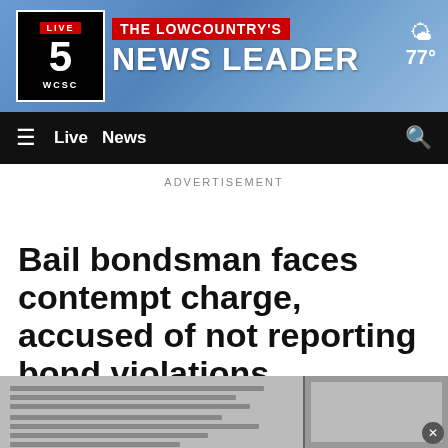[Figure (logo): WCSC Live 5 News station logo with red and black branding, THE LOWCOUNTRY'S NEWS LEADER banner, and weather showing 77 degrees]
☰  Live  News  🔍
ADVERTISEMENT
Bail bondsman faces contempt charge, accused of not reporting bond violations
[Figure (photo): Partially visible legal document with text about bond conditions]